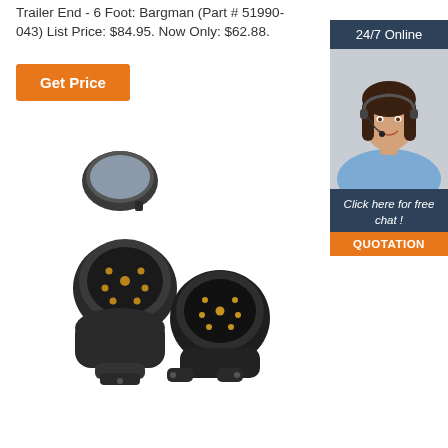Trailer End - 6 Foot: Bargman (Part # 51990-043) List Price: $84.95. Now Only: $62.88.
Get Price
24/7 Online
[Figure (photo): Woman with headset smiling, customer support agent photo]
Click here for free chat !
QUOTATION
[Figure (photo): Two trailer electrical connectors/sockets, black plastic, showing pins inside]